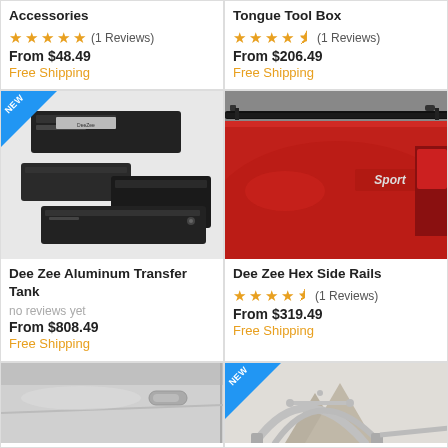Accessories
★★★★★ (1 Reviews)
From $48.49
Free Shipping
Tongue Tool Box
★★★★½ (1 Reviews)
From $206.49
Free Shipping
[Figure (photo): Dee Zee aluminum transfer tank / tool box set, multiple black metal boxes]
Dee Zee Aluminum Transfer Tank
no reviews yet
From $808.49
Free Shipping
[Figure (photo): Red truck bed closeup with Sport badge, black bed rails installed]
Dee Zee Hex Side Rails
★★★★½ (1 Reviews)
From $319.49
Free Shipping
[Figure (photo): Silver truck side door panel closeup]
[Figure (photo): Silver/chrome sport bar rack on truck bed, NEW badge]